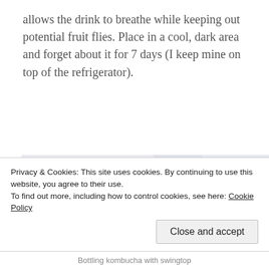allows the drink to breathe while keeping out potential fruit flies. Place in a cool, dark area and forget about it for 7 days (I keep mine on top of the refrigerator).
[Figure (photo): Photo of blue glass swing-top bottles for bottling kombucha, showing the wire bail closures and rubber gaskets on two cobalt blue bottles]
Privacy & Cookies: This site uses cookies. By continuing to use this website, you agree to their use.
To find out more, including how to control cookies, see here: Cookie Policy
Bottling kombucha with swingtop